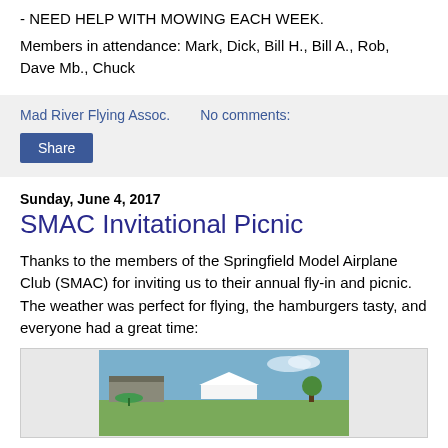- NEED HELP WITH MOWING EACH WEEK.
Members in attendance: Mark, Dick, Bill H., Bill A., Rob, Dave Mb., Chuck
Mad River Flying Assoc.   No comments:   Share
Sunday, June 4, 2017
SMAC Invitational Picnic
Thanks to the members of the Springfield Model Airplane Club (SMAC) for inviting us to their annual fly-in and picnic. The weather was perfect for flying, the hamburgers tasty, and everyone had a great time:
[Figure (photo): Outdoor photo of an airfield/picnic area with tents, grass, and blue sky with clouds]